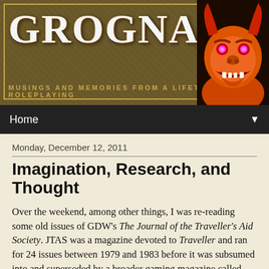[Figure (logo): Grognardia blog header banner with stylized text logo and demon face illustration on dark brown background with decorative border. Subtitle reads 'MUSINGS AND MEMORIES FROM A LIFETIME OF ROLEPLAYING']
Home ▼
Monday, December 12, 2011
Imagination, Research, and Thought
Over the weekend, among other things, I was re-reading some old issues of GDW's The Journal of the Traveller's Aid Society. JTAS was a magazine devoted to Traveller and ran for 24 issues between 1979 and 1983 before it was subsumed into and superseded by a broader gaming magazine called Challenge. I have very fond memories of both JTAS and Challenge, the latter being where my earliest gaming writing was published.
Anyway, in issue #2 of JTAS, editor Loren Wiseman has a